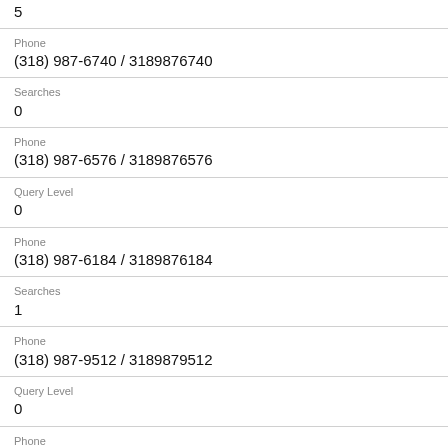5
Phone
(318) 987-6740 / 3189876740
Searches
0
Phone
(318) 987-6576 / 3189876576
Query Level
0
Phone
(318) 987-6184 / 3189876184
Searches
1
Phone
(318) 987-9512 / 3189879512
Query Level
0
Phone
(318) 987-6251 / 3189876251